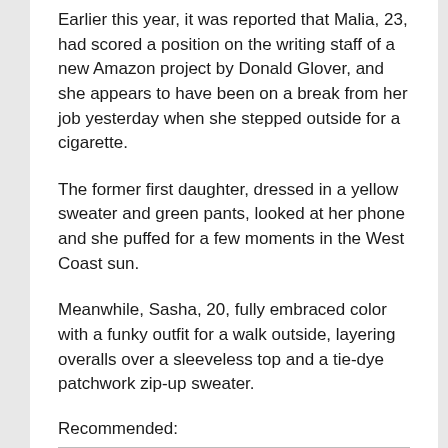Earlier this year, it was reported that Malia, 23, had scored a position on the writing staff of a new Amazon project by Donald Glover, and she appears to have been on a break from her job yesterday when she stepped outside for a cigarette.
The former first daughter, dressed in a yellow sweater and green pants, looked at her phone and she puffed for a few moments in the West Coast sun.
Meanwhile, Sasha, 20, fully embraced color with a funky outfit for a walk outside, layering overalls over a sleeveless top and a tie-dye patchwork zip-up sweater.
Recommended:
Exclusive: Goldman Sachs offers new way for investors to bet on SPACs – sources
Crystal Palace Subway to be returned to its Victorian splendour